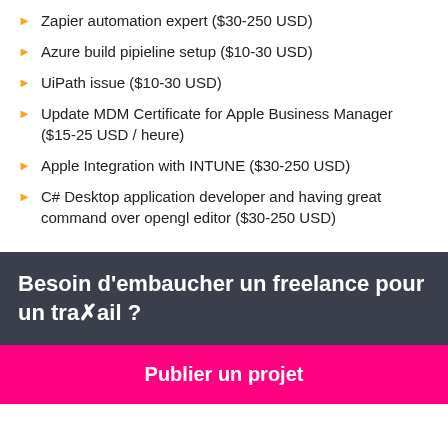Zapier automation expert ($30-250 USD)
Azure build pipieline setup ($10-30 USD)
UiPath issue ($10-30 USD)
Update MDM Certificate for Apple Business Manager ($15-25 USD / heure)
Apple Integration with INTUNE ($30-250 USD)
C# Desktop application developer and having great command over opengl editor ($30-250 USD)
Besoin d'embaucher un freelance pour un travail ?
Publier un projet